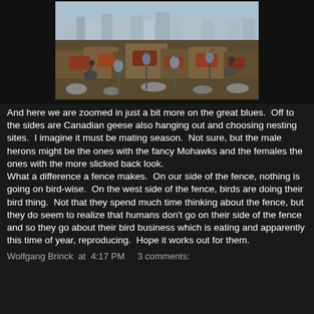[Figure (photo): Photograph of great blue herons and Canadian geese in a wetland area with a city skyline visible in the background. Multiple large birds are standing among low vegetation and rocks.]
And here we are zoomed in just a bit more on the great blues.  Off to the sides are Canadian geese also hanging out and choosing nesting sites.  I imagine it must be mating season.  Not sure, but the male herons might be the ones with the fancy Mohawks and the females the ones with the more slicked back look.
What a difference a fence makes.  On our side of the fence, nothing is going on bird-wise.  On the west side of the fence, birds are doing their bird thing.  Not that they spend much time thinking about the fence, but they do seem to realize that humans don't go on their side of the fence and so they go about their bird business which is eating and apparently this time of year, reproducing.  Hope it works out for them.
Wolfgang Brinck  at  4:17 PM     3 comments: